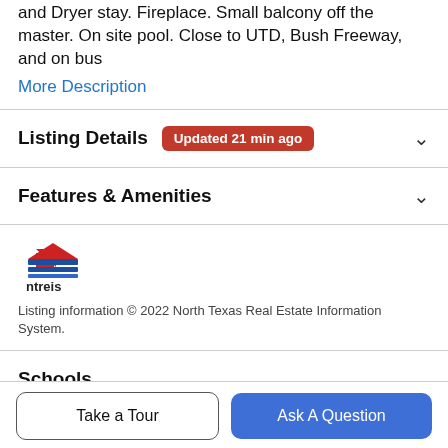and Dryer stay. Fireplace. Small balcony off the master. On site pool. Close to UTD, Bush Freeway, and on bus
More Description
Listing Details  Updated 21 min ago
Features & Amenities
[Figure (logo): NTREIS (North Texas Real Estate Information System) logo — blue and red abstract house/arrow shapes above the text 'ntreis']
Listing information © 2022 North Texas Real Estate Information System.
Schools
Take a Tour
Ask A Question